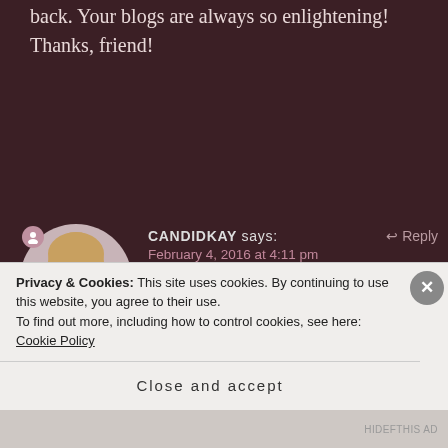back. Your blogs are always so enlightening! Thanks, friend!
CANDIDKAY says:
February 4, 2016 at 4:11 pm
Oh, I'm sure that could not have been easy at the time. But I am so glad you were able to because I think acceptance is freeing when it finally comes. Thanks for always reading
Privacy & Cookies: This site uses cookies. By continuing to use this website, you agree to their use.
To find out more, including how to control cookies, see here: Cookie Policy
Close and accept